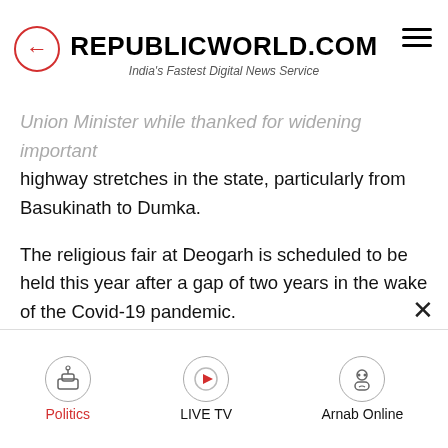REPUBLICWORLD.COM — India's Fastest Digital News Service
Union Minister while thanked for widening important highway stretches in the state, particularly from Basukinath to Dumka.
The religious fair at Deogarh is scheduled to be held this year after a gap of two years in the wake of the Covid-19 pandemic.
During this pilgrimage which continues for 30 days during 'Shravan' (mid-July to mid-August) devotees in large numbers throng the Baba Baidyanath Temple to offer holy water from the Ganga to Lord Shiva.
Politics | LIVE TV | Arnab Online